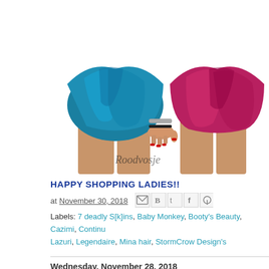[Figure (illustration): Fashion illustration showing two female figures from waist down, wearing silky satin shorts — one teal/blue and one magenta/crimson. One figure has a hand with red nails resting on her hip, wearing metallic bracelets. Watermark 'Roodvosje' in cursive at bottom left.]
HAPPY SHOPPING LADIES!!
at November 30, 2018
Labels: 7 deadly S[k]ins, Baby Monkey, Booty's Beauty, Cazimi, Continu... Lazuri, Legendaire, Mina hair, StormCrow Design's
Wednesday, November 28, 2018
Let's go shopping!